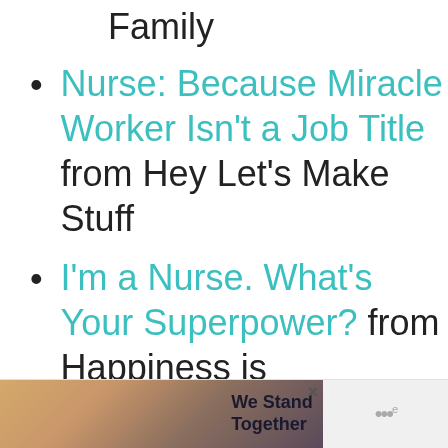Family
Nurse: Because Miracle Worker Isn't a Job Title from Hey Let's Make Stuff
I'm a Nurse. What's Your Superpower? from Happiness is Homemade
[Figure (photo): Advertisement banner showing group of people from behind with arms around each other, text reads 'We Stand Together']